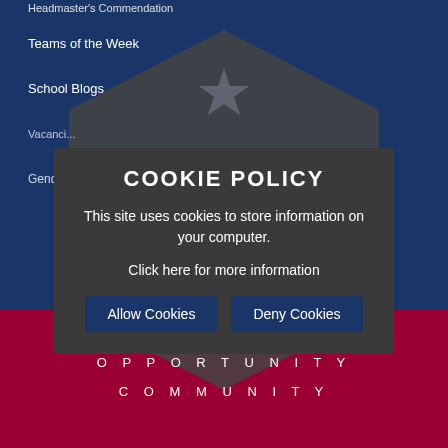Headmaster's Commendation
Teams of the Week
School Blogs
Vacancy
Gendl...ay-Sen-Kupar
COOKIE POLICY
This site uses cookies to store information on your computer.
Click here for more information
Allow Cookies
Deny Cookies
AMBITION
OPPORTUNITY
COMMUNITY